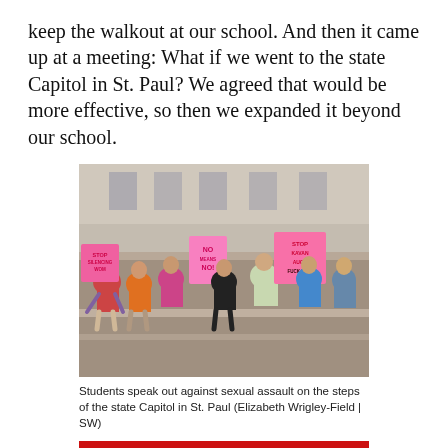keep the walkout at our school. And then it came up at a meeting: What if we went to the state Capitol in St. Paul? We agreed that would be more effective, so then we expanded it beyond our school.
[Figure (photo): Group of students sitting on the steps of the state Capitol building in St. Paul, holding pink protest signs reading 'STOP SILENCING WOMEN', 'NO MEANS NO', 'STOP KAVANAUGH', 'STOP KAVANAUGH FUCK YOU']
Students speak out against sexual assault on the steps of the state Capitol in St. Paul (Elizabeth Wrigley-Field | SW)
Sabrina: The three of us met up a few times at school